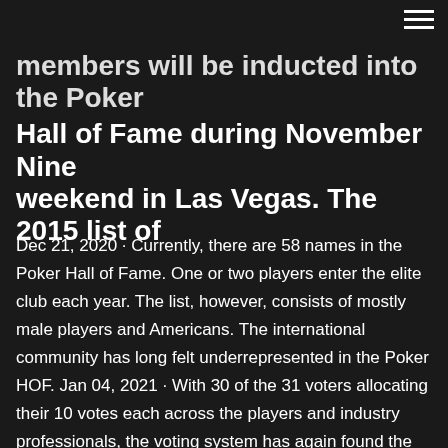☰
members will be inducted into the Poker Hall of Fame during November Nine weekend in Las Vegas. The 2015 list of
Dec 21, 2020 · Currently, there are 58 names in the Poker Hall of Fame. One or two players enter the elite club each year. The list, however, consists of mostly male players and Americans. The international community has long felt underrepresented in the Poker HOF. Jan 04, 2021 · With 30 of the 31 voters allocating their 10 votes each across the players and industry professionals, the voting system has again found the right member of poker history to enter the Hall of Fame. Jun 23, 2019 · The finalists are: Chris Bjorin, David Chiu, Eli Elezra, Antonio Esfandiari, Chris Ferguson, Ted Forrest, Mike Matusow, David Oppenheim, Chris